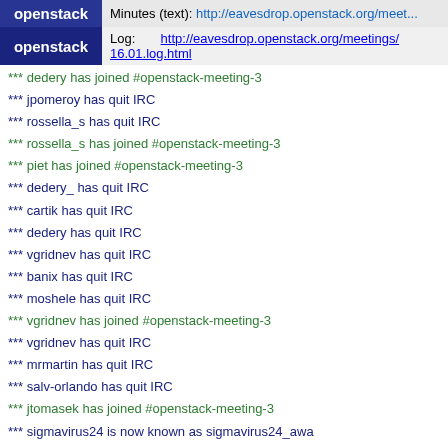|  | Minutes (text) |
| --- | --- |
| openstack | Minutes (text): http://eavesdrop.openstack.org/meet... |
| openstack | Log: http://eavesdrop.openstack.org/meetings/...16.01.log.html |
*** dedery has joined #openstack-meeting-3
*** jpomeroy has quit IRC
*** rossella_s has quit IRC
*** rossella_s has joined #openstack-meeting-3
*** piet has joined #openstack-meeting-3
*** dedery_ has quit IRC
*** cartik has quit IRC
*** dedery has quit IRC
*** vgridnev has quit IRC
*** banix has quit IRC
*** moshele has quit IRC
*** vgridnev has joined #openstack-meeting-3
*** vgridnev has quit IRC
*** mrmartin has quit IRC
*** salv-orlando has quit IRC
*** jtomasek has joined #openstack-meeting-3
*** sigmavirus24 is now known as sigmavirus24_awa
*** banix has joined #openstack-meeting-3
*** e0ne has quit IRC
*** ddieterly is now known as ddieterly[away]